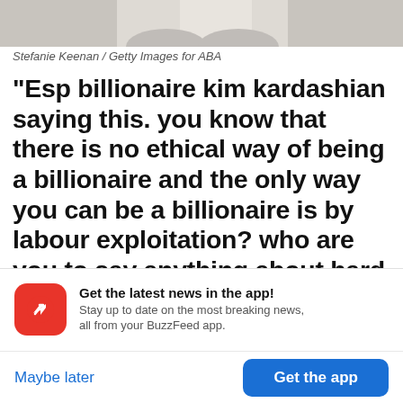[Figure (photo): Partial photo of a person sitting, showing torso and legs in white clothing against a light background.]
Stefanie Keenan / Getty Images for ABA
“Esp billionaire kim kardashian saying this. you know that there is no ethical way of being a billionaire and the only way you can be a billionaire is by labour exploitation? who are you to say anything about hard work and people not wanting to work?” someone said
Get the latest news in the app! Stay up to date on the most breaking news, all from your BuzzFeed app.
Maybe later
Get the app